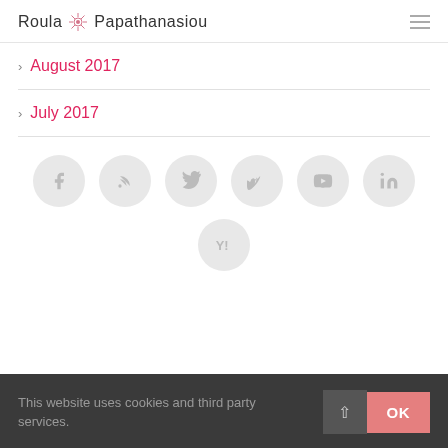Roula Papathanasiou
August 2017
July 2017
[Figure (infographic): Social media icon buttons in gray circles: Facebook, RSS, Twitter, Vimeo, YouTube, LinkedIn, Yahoo]
This website uses cookies and third party services.